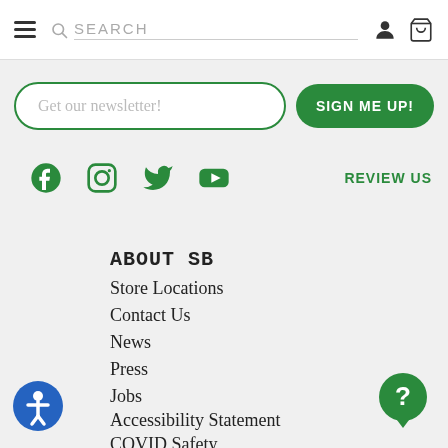SEARCH
Get our newsletter!
SIGN ME UP!
[Figure (other): Social media icons: Facebook, Instagram, Twitter, YouTube and REVIEW US link]
ABOUT SB
Store Locations
Contact Us
News
Press
Jobs
Accessibility Statement
COVID Safety